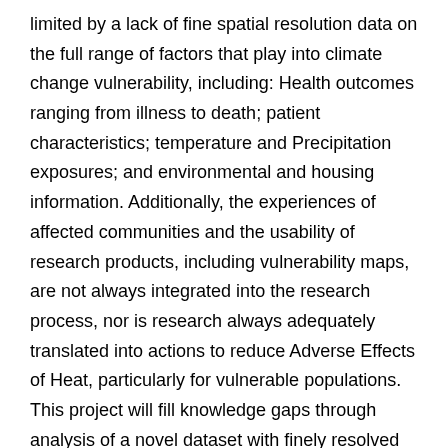limited by a lack of fine spatial resolution data on the full range of factors that play into climate change vulnerability, including: Health outcomes ranging from illness to death; patient characteristics; temperature and Precipitation exposures; and environmental and housing information. Additionally, the experiences of affected communities and the usability of research products, including vulnerability maps, are not always integrated into the research process, nor is research always adequately translated into actions to reduce Adverse Effects of Heat, particularly for vulnerable populations. This project will fill knowledge gaps through analysis of a novel dataset with finely resolved information informed by community knowledge and policy needs. Dr. Gronlund will identify how pre-existing health conditions, housing characteristics and air pollution increase vulnerability to extreme Heat mortality, hospitalization and emergency room visits, using data from 6 U.S. cities. She will link